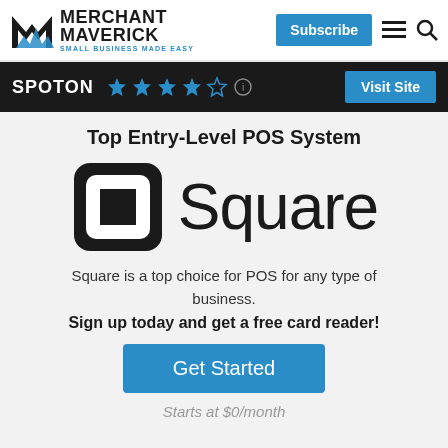Merchant Maverick — Small Business Made Easy
SPOTON ★★★★☆ — Visit Site
Top Entry-Level POS System
[Figure (logo): Square logo: rounded square icon with inner square, and the word 'Square' in large text]
Square is a top choice for POS for any type of business.
Sign up today and get a free card reader!
Get Started
Starts at $0/month